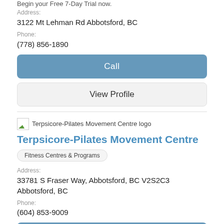Begin your Free 7-Day Trial now.
Address:
3122 Mt Lehman Rd Abbotsford, BC
Phone:
(778) 856-1890
Call
View Profile
[Figure (logo): Terpsicore-Pilates Movement Centre logo]
Terpsicore-Pilates Movement Centre
Fitness Centres & Programs
Address:
33781 S Fraser Way, Abbotsford, BC V2S2C3 Abbotsford, BC
Phone:
(604) 853-9009
Call